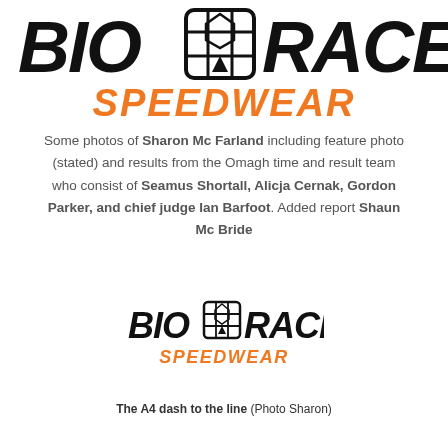[Figure (logo): BioRacer Speedwear logo top large — black bold italic BIO RACER text with helmet icon, orange SPEEDWEAR text below]
Some photos of Sharon Mc Farland including feature photo (stated) and results from the Omagh time and result team who consist of Seamus Shortall, Alicja Cernak, Gordon Parker, and chief judge Ian Barfoot. Added report Shaun Mc Bride
[Figure (logo): BioRacer Speedwear logo smaller — black bold BIO RACER text with helmet icon, orange SPEEDWEAR text below]
The A4 dash to the line (Photo Sharon)